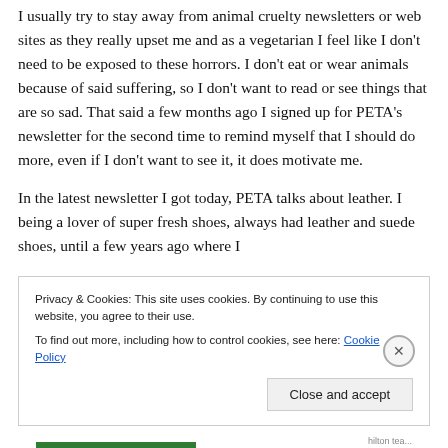I usually try to stay away from animal cruelty newsletters or web sites as they really upset me and as a vegetarian I feel like I don't need to be exposed to these horrors. I don't eat or wear animals because of said suffering, so I don't want to read or see things that are so sad. That said a few months ago I signed up for PETA's newsletter for the second time to remind myself that I should do more, even if I don't want to see it, it does motivate me.
In the latest newsletter I got today, PETA talks about leather. I being a lover of super fresh shoes, always had leather and suede shoes, until a few years ago where I
Privacy & Cookies: This site uses cookies. By continuing to use this website, you agree to their use.
To find out more, including how to control cookies, see here: Cookie Policy